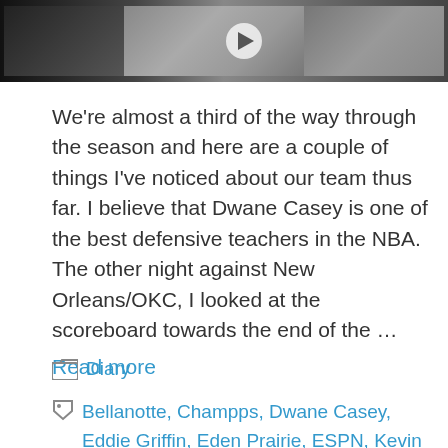[Figure (photo): Dark banner image showing basketball players in white jerseys with a video play button overlay]
We're almost a third of the way through the season and here are a couple of things I've noticed about our team thus far. I believe that Dwane Casey is one of the best defensive teachers in the NBA. The other night against New Orleans/OKC, I looked at the scoreboard towards the end of the …
Read more
Diary
Bellanotte, Champps, Dwane Casey, Eddie Griffin, Eden Prairie, ESPN, Kevin Garnett, Los Angeles, Michael Olowokandi,